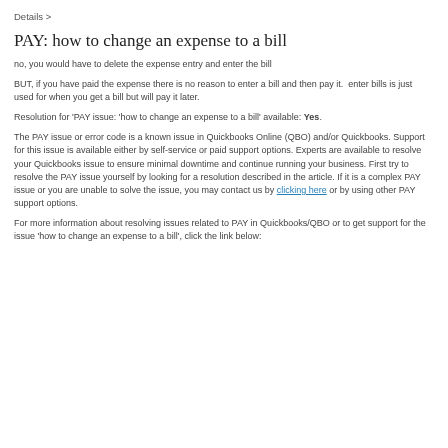Details >
PAY: how to change an expense to a bill
no, you would have to delete the expense entry and enter the bill
BUT, if you have paid the expense there is no reason to enter a bill and then pay it.  enter bills is just used for when you get a bill but will pay it later.
Resolution for 'PAY issue: 'how to change an expense to a bill' available: Yes.
The PAY issue or error code is a known issue in Quickbooks Online (QBO) and/or Quickbooks. Support for this issue is available either by self-service or paid support options. Experts are available to resolve your Quickbooks issue to ensure minimal downtime and continue running your business. First try to resolve the PAY issue yourself by looking for a resolution described in the article. If it is a complex PAY issue or you are unable to solve the issue, you may contact us by clicking here or by using other PAY support options.
For more information about resolving issues related to PAY in Quickbooks/QBO or to get support for the issue 'how to change an expense to a bill', click the link below: